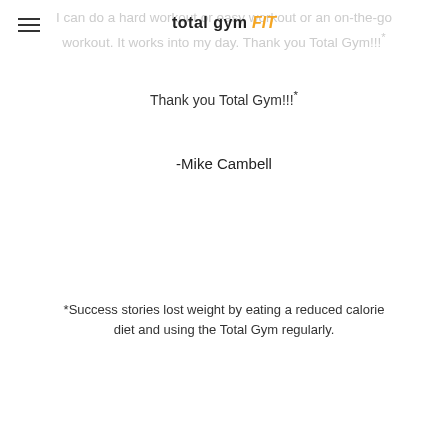total gym FIT
I can do a hard workout or easy workout or an on-the-go workout. It works into my day. Thank you Total Gym!!!
-Mike Cambell
*Success stories lost weight by eating a reduced calorie diet and using the Total Gym regularly.